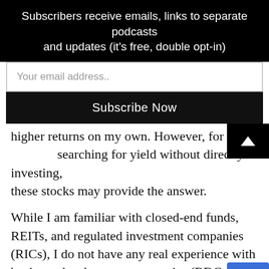Subscribers receive emails, links to separate podcasts and updates (it's free, double opt-in)
Your email address..
Subscribe Now
higher returns on my own. However, for those searching for yield without directly investing, these stocks may provide the answer.
While I am familiar with closed-end funds, REITs, and regulated investment companies (RICs), I do not have any real experience with business development companies (BDCs); but their premise is fairly straightforward. Similar to REITs, BDCs are a type of RIC and are required to distribute more than 90% of their profits and gains to